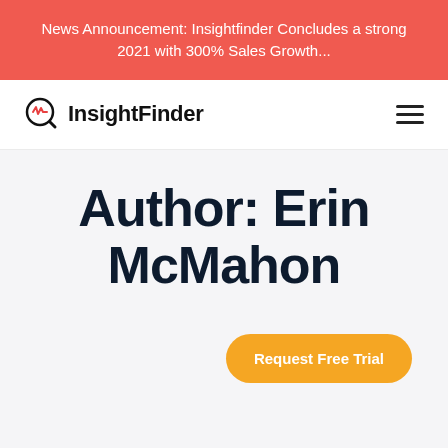News Announcement: Insightfinder Concludes a strong 2021 with 300% Sales Growth...
[Figure (logo): InsightFinder logo with magnifying glass icon containing a heartbeat/waveform symbol, followed by bold text 'InsightFinder']
Author: Erin McMahon
Request Free Trial